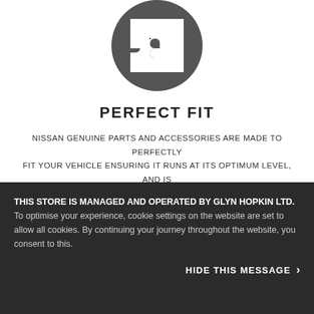[Figure (illustration): Dark grey circular icon with white puzzle pieces (four interlocking puzzle pieces) in the center]
PERFECT FIT
NISSAN GENUINE PARTS AND ACCESSORIES ARE MADE TO PERFECTLY FIT YOUR VEHICLE ENSURING IT RUNS AT ITS OPTIMUM LEVEL, AND IS READY FOR ANY ADVENTURE.
[Figure (illustration): Dark grey circular icon partially visible at bottom, showing a white cursive letter e (or leaf shape) on a dark circle background]
THIS STORE IS MANAGED AND OPERATED BY GLYN HOPKIN LTD. To optimise your experience, cookie settings on the website are set to allow all cookies. By continuing your journey throughout the website, you consent to this.
HIDE THIS MESSAGE >